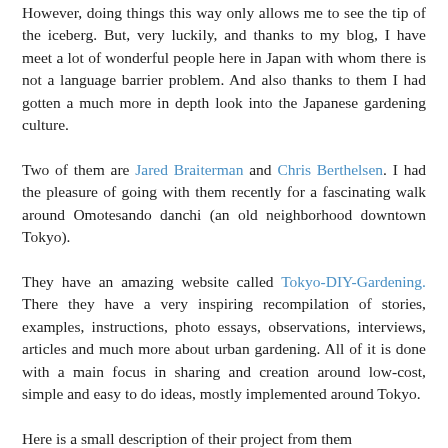However, doing things this way only allows me to see the tip of the iceberg. But, very luckily, and thanks to my blog, I have meet a lot of wonderful people here in Japan with whom there is not a language barrier problem. And also thanks to them I had gotten a much more in depth look into the Japanese gardening culture.
Two of them are Jared Braiterman and Chris Berthelsen. I had the pleasure of going with them recently for a fascinating walk around Omotesando danchi (an old neighborhood downtown Tokyo).
They have an amazing website called Tokyo-DIY-Gardening. There they have a very inspiring recompilation of stories, examples, instructions, photo essays, observations, interviews, articles and much more about urban gardening. All of it is done with a main focus in sharing and creation around low-cost, simple and easy to do ideas, mostly implemented around Tokyo.
Here is a small description of their project from them
Our Tokyo DIY Gardening project is about people having fun with nature in the city. Too many people think you need to be an expert to grow plants. We want